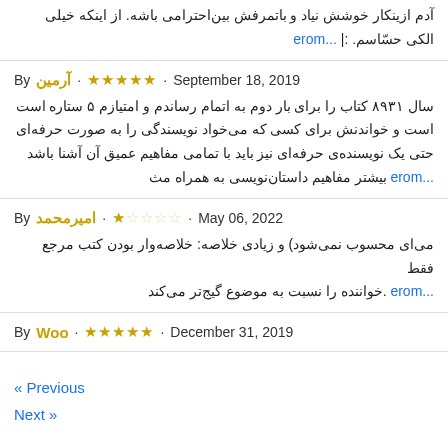آدم ازینکار خوشش نیاد و باتمرفش بین‌احترامی باشه. از اینکه خیلی الکی حسّاسم. :| ...more
By آرمین · ★★★★★ · September 18, 2019
سال ۱۳۹۸ کتاب را برای بار دوم به اتمام رساندم و امتیازم ۵ ستاره است و خواندنش برای کسی که می‌خواد نویسندگی را به صورت حرفه‌ای حتی یک نویسنده‌ی حرفه‌ای نیز باید با تمامی مفاهیم عمیق آن آشنا باشد ...more بیشتر مفاهیم داستان‌نویسی به همراه مث
By امیرمحمد · ★☆☆☆☆ · May 06, 2022
می‌ای محسوب نمی‌شود) و زیادی خلاصه: خلاصه‌وار بودن کتب مرجع فقط ...more .خواننده را نسبت به موضوع گیج‌تر می‌کند
By Woo · ★★★★★ · December 31, 2019
« Previous
Next »